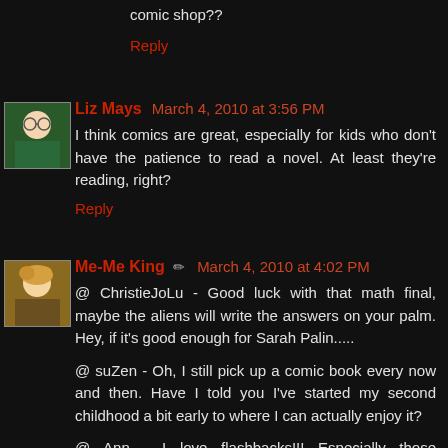comic shop??
Reply
Liz Mays  March 4, 2010 at 3:56 PM
I think comics are great, especially for kids who don't have the patience to read a novel. At least they're reading, right?
Reply
Me-Me King  ✏  March 4, 2010 at 4:02 PM
@ ChristieJoLu - Good luck with that math final, maybe the aliens will write the answers on your palm. Hey, if it's good enough for Sarah Palin.....
@ suZen - Oh, I still pick up a comic book every now and then. Have I told you I've started my second childhood a bit early to where I can actually enjoy it?
@ Ann - I love flashbacks!!! Especially those associated with my youth.